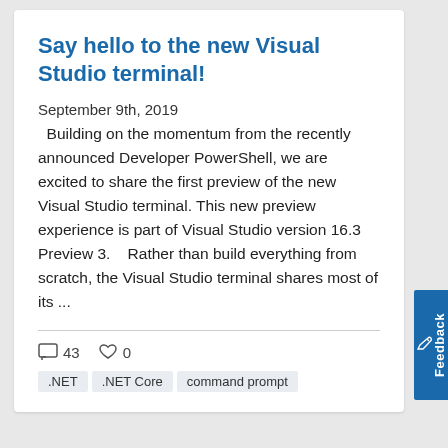Say hello to the new Visual Studio terminal!
September 9th, 2019
Building on the momentum from the recently announced Developer PowerShell, we are excited to share the first preview of the new Visual Studio terminal. This new preview experience is part of Visual Studio version 16.3 Preview 3.   Rather than build everything from scratch, the Visual Studio terminal shares most of its ...
43  0
.NET  .NET Core  command prompt